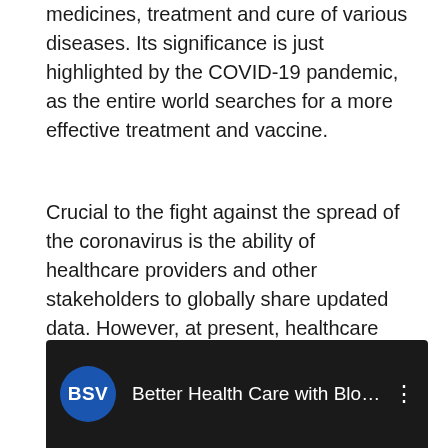medicines, treatment and cure of various diseases. Its significance is just highlighted by the COVID-19 pandemic, as the entire world searches for a more effective treatment and vaccine.
Crucial to the fight against the spread of the coronavirus is the ability of healthcare providers and other stakeholders to globally share updated data. However, at present, healthcare data exist in silos that make it difficult for data to be shared across institutions, states and countries. With healthcare on blockchain, people can rely on a single database that can be updated by stakeholders around the globe. And this is why EHR Data has developed a global healthcare database that allows for sharing information updated in real time.
[Figure (screenshot): YouTube video thumbnail showing a BSV (blue circle logo) with title 'Better Health Care with Blockchai...' on a dark background with a vertical dots menu icon]